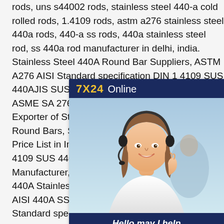rods, uns s44002 rods, stainless steel 440-a cold rolled rods, 1.4109 rods, astm a276 stainless steel 440a rods, 440-a ss rods, 440a stainless steel rod, ss 440a rod manufacturer in delhi, india. Stainless Steel 440A Round Bar Suppliers, ASTM A276 AISI Standard specification DIN 1 4109 SUS 440AJIS SUS 440A Polished Bar Suppliers, ASME SA 276/479 SS Hexagon Bars / Rods, Exporter of Stainless Steel UNS S44002 Forged Round Bars, Steel 440A Threaded Bar Leading Price List in India. Standard specification DIN 1 4109 SUS 440A SS DIN 1.4109 Bars Manufacturer, Steel 440A Flat Bar, Distributor of 440A Stainless Steel Hollow Bars, ASTM A276 AISI 440A SS Round Bars Supplier, 440A Standard specification DIN 1 4109 SUS
[Figure (other): Customer service chat widget with '7X24 Online' header in navy blue, a photo of a smiling female customer service representative wearing a headset, italic text 'Hello,may I help you?' and a yellow 'Get Latest Price' button.]